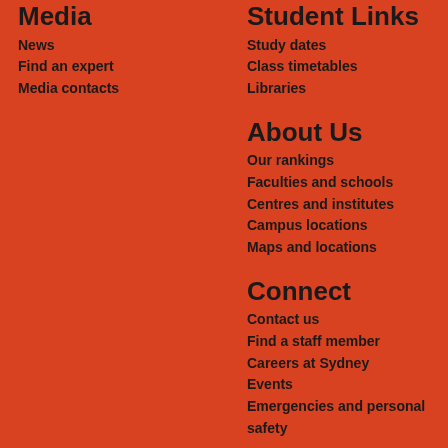Media
News
Find an expert
Media contacts
Student Links
Study dates
Class timetables
Libraries
About Us
Our rankings
Faculties and schools
Centres and institutes
Campus locations
Maps and locations
Connect
Contact us
Find a staff member
Careers at Sydney
Events
Emergencies and personal safety